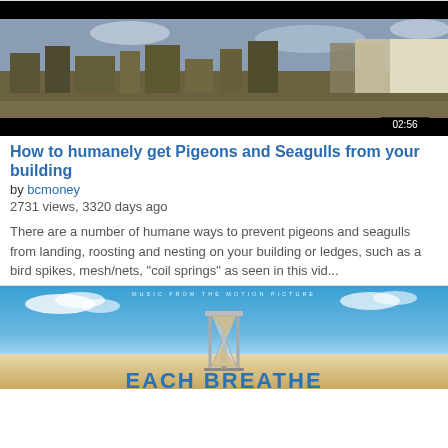[Figure (screenshot): Video thumbnail showing aerial city view with timestamp 02:56]
How to humanely get Pigeons and Seagulls from your building
by bcmoney
2731 views, 3320 days ago
There are a number of humane ways to prevent pigeons and seagulls from landing, roosting and nesting on your building or ledges, such as a bird spikes, mesh/nets, "coil springs" as seen in this vid...
[Figure (screenshot): Video thumbnail for a motion picture soundtrack, showing an hourglass on a sandy beach with text 'MUSIC FROM THE MOTION PICTURE' at top]